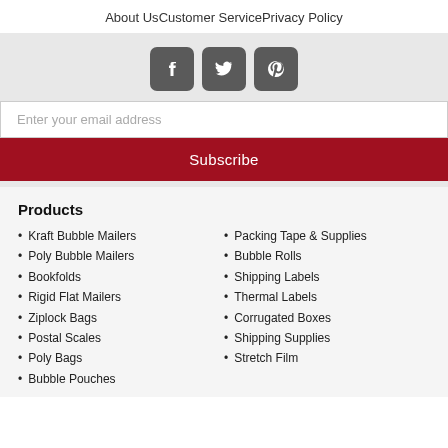About Us   Customer Service   Privacy Policy
[Figure (infographic): Three social media icon buttons (Facebook, Twitter, Pinterest) in dark gray rounded squares]
Enter your email address
Subscribe
Products
Kraft Bubble Mailers
Poly Bubble Mailers
Bookfolds
Rigid Flat Mailers
Ziplock Bags
Postal Scales
Poly Bags
Bubble Pouches
Packing Tape & Supplies
Bubble Rolls
Shipping Labels
Thermal Labels
Corrugated Boxes
Shipping Supplies
Stretch Film